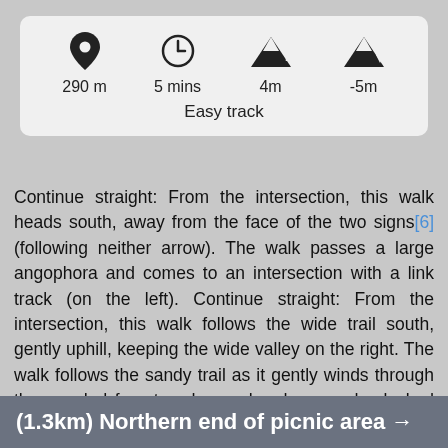[Figure (infographic): Info box with four icons (location pin, clock, ascent, descent) and values: 290 m, 5 mins, 4m, -5m, and 'Easy track' label]
Continue straight: From the intersection, this walk heads south, away from the face of the two signs[6] (following neither arrow). The walk passes a large angophora and comes to an intersection with a link track (on the left). Continue straight: From the intersection, this walk follows the wide trail south, gently uphill, keeping the wide valley on the right. The walk follows the sandy trail as it gently winds through the wooded forest and soon heads around a locked gate, coming to a large ‘Sid Pulsford Walking Trail’ sign[7] at the northern end of the large grassy picnic area.
(1.3km) Northern end of picnic area →